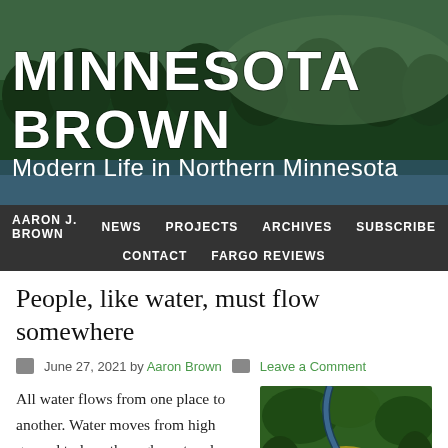[Figure (illustration): Minnesota Brown blog header banner with large white text 'MINNESOTA BROWN' and subtitle 'Modern Life in Northern Minnesota' over a green forest and water landscape background]
AARON J. BROWN  NEWS  PROJECTS  ARCHIVES  SUBSCRIBE  CONTACT  FARGO REVIEWS
People, like water, must flow somewhere
June 27, 2021 by Aaron Brown  Leave a Comment
All water flows from one place to another. Water moves from high ground to low, through peat and sand, slowly cutting mighty stones into sediment. Then it changes form. Evaporates. Falling back to earth, water begins anew. I grew
[Figure (photo): Aerial view of a winding river through green forest with yellow/golden meadow, overlaid with cursive text 'Watershed attending to']